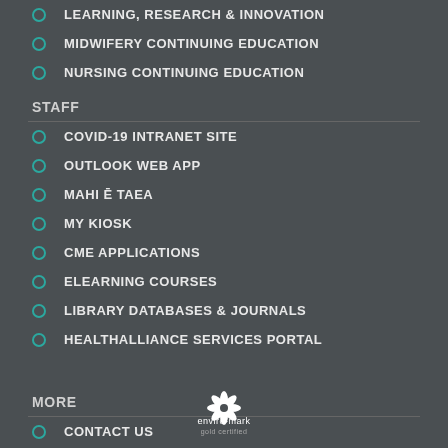LEARNING, RESEARCH & INNOVATION
MIDWIFERY CONTINUING EDUCATION
NURSING CONTINUING EDUCATION
STAFF
COVID-19 INTRANET SITE
OUTLOOK WEB APP
MAHI Ē TAEA
MY KIOSK
CME APPLICATIONS
ELEARNING COURSES
LIBRARY DATABASES & JOURNALS
HEALTHALLIANCE SERVICES PORTAL
MORE
CONTACT US
ABOUT THIS SITE
ACCESSIBILITY
[Figure (logo): enviro-mark gold certified logo]